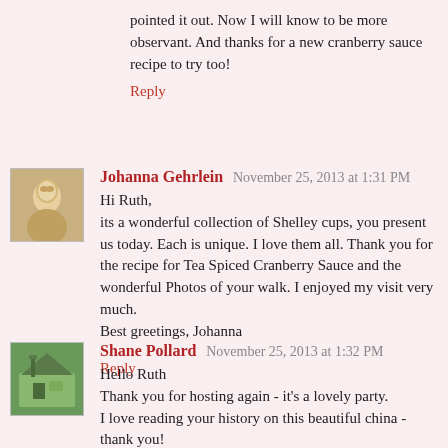pointed it out. Now I will know to be more observant. And thanks for a new cranberry sauce recipe to try too!
Reply
Johanna Gehrlein  November 25, 2013 at 1:31 PM
Hi Ruth,
its a wonderful collection of Shelley cups, you present us today. Each is unique. I love them all. Thank you for the recipe for Tea Spiced Cranberry Sauce and the wonderful Photos of your walk. I enjoyed my visit very much.
Best greetings, Johanna
Reply
Shane Pollard  November 25, 2013 at 1:32 PM
Hello Ruth
Thank you for hosting again - it's a lovely party.
I love reading your history on this beautiful china - thank you!

I'm writing down the Cranberry recipe - we don't celebrate